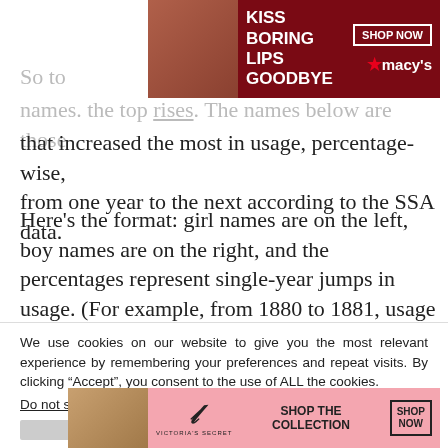[Figure (screenshot): Macy's advertisement banner: red background with 'KISS BORING LIPS GOODBYE' text and 'SHOP NOW' button with Macy's star logo, model's face visible]
So to names. the top rises. The names below are those that increased the most in usage, percentage-wise, from one year to the next according to the SSA data.
Here's the format: girl names are on the left, boy names are on the right, and the percentages represent single-year jumps in usage. (For example, from 1880 to 1881, usage of the girl name Isa grew
We use cookies on our website to give you the most relevant experience by remembering your preferences and repeat visits. By clicking “Accept”, you consent to the use of ALL the cookies.
Do not sell my personal information.
[Figure (screenshot): Victoria's Secret advertisement: pink background with VS logo, 'SHOP THE COLLECTION' text and 'SHOP NOW' button, model with curly hair on left]